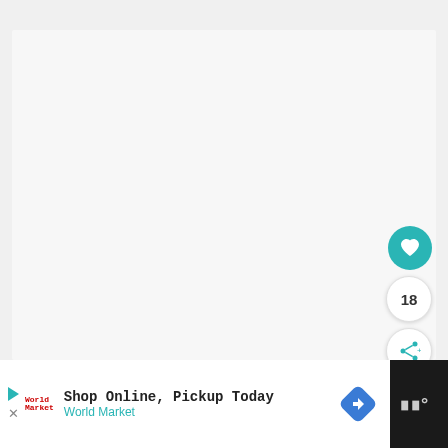[Figure (screenshot): Large light gray blank content area, likely a loading or empty state web page screenshot]
[Figure (infographic): Teal circular heart/favorite button (FAB)]
18
[Figure (infographic): White circular share button with teal share icon and plus sign]
[Figure (infographic): Advertisement bar: Shop Online, Pickup Today - World Market, with play button, logo, navigation arrow icon, and dark right panel with WW logo]